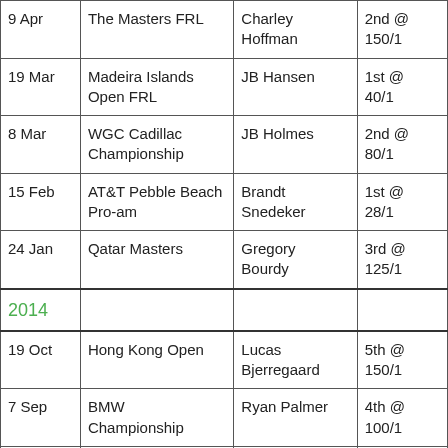| Date | Tournament | Player | Result |
| --- | --- | --- | --- |
| 9 Apr | The Masters FRL | Charley Hoffman | 2nd @ 150/1 |
| 19 Mar | Madeira Islands Open FRL | JB Hansen | 1st @ 40/1 |
| 8 Mar | WGC Cadillac Championship | JB Holmes | 2nd @ 80/1 |
| 15 Feb | AT&T Pebble Beach Pro-am | Brandt Snedeker | 1st @ 28/1 |
| 24 Jan | Qatar Masters | Gregory Bourdy | 3rd @ 125/1 |
| 2014 |  |  |  |
| 19 Oct | Hong Kong Open | Lucas Bjerregaard | 5th @ 150/1 |
| 7 Sep | BMW Championship | Ryan Palmer | 4th @ 100/1 |
|  | BMW International | Fabrizio | 1st @ |